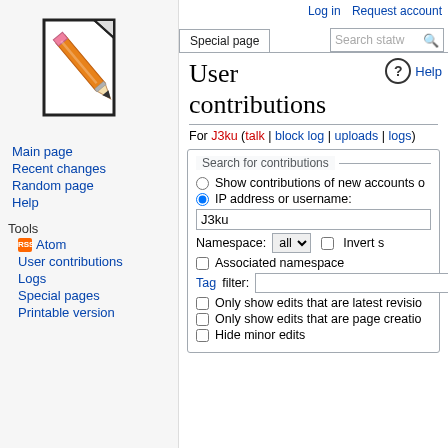[Figure (illustration): Wikipedia pencil-and-paper logo icon]
Main page
Recent changes
Random page
Help
Tools
Atom
User contributions
Logs
Special pages
Printable version
Log in  Request account
User contributions
For J3ku (talk | block log | uploads | logs)
Search for contributions — Show contributions of new accounts o... — IP address or username: J3ku — Namespace: all  Invert s... — Associated namespace — Tag filter: — Only show edits that are latest revisio... — Only show edits that are page creatio... — Hide minor edits